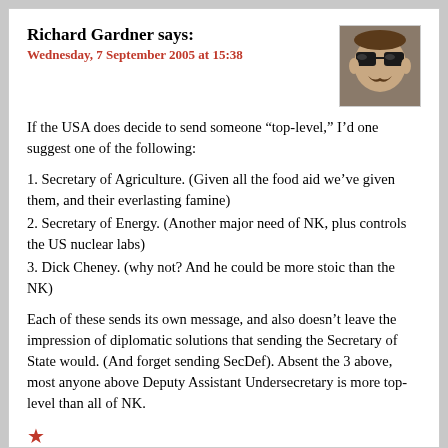Richard Gardner says:
Wednesday, 7 September 2005 at 15:38
[Figure (photo): Avatar photo of a man wearing dark sunglasses with a mustache]
If the USA does decide to send someone “top-level,” I’d one suggest one of the following:
1. Secretary of Agriculture. (Given all the food aid we’ve given them, and their everlasting famine)
2. Secretary of Energy. (Another major need of NK, plus controls the US nuclear labs)
3. Dick Cheney. (why not? And he could be more stoic than the NK)
Each of these sends its own message, and also doesn’t leave the impression of diplomatic solutions that sending the Secretary of State would. (And forget sending SecDef). Absent the 3 above, most anyone above Deputy Assistant Undersecretary is more top-level than all of NK.